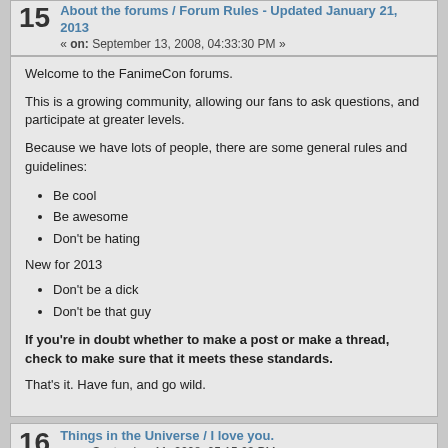15   About the forums / Forum Rules - Updated January 21, 2013
« on: September 13, 2008, 04:33:30 PM »
Welcome to the FanimeCon forums.
This is a growing community, allowing our fans to ask questions, and participate at greater levels.
Because we have lots of people, there are some general rules and guidelines:
Be cool
Be awesome
Don't be hating
New for 2013
Don't be a dick
Don't be that guy
If you're in doubt whether to make a post or make a thread, check to make sure that it meets these standards.
That's it. Have fun, and go wild.
16   Things in the Universe / I love you.
« on: September 11, 2008, 05:15:03 PM »